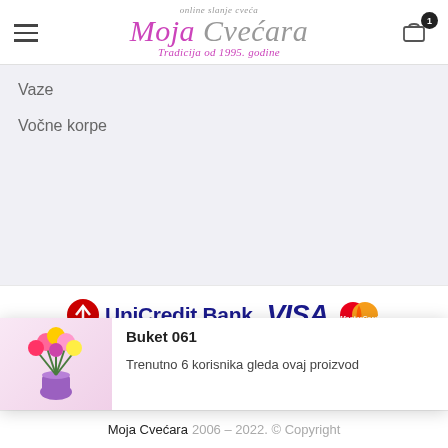Moja Cvećara — online slanje cveća — Tradicija od 1995. godine
Vaze
Vočne korpe
[Figure (logo): UniCredit Bank logo, VISA logo, MasterCard logo]
[Figure (photo): Bouquet of colorful roses in purple vase — Buket 061]
Buket 061
Trenutno 6 korisnika gleda ovaj proizvod
Moja Cvećara 2006 – 2022. © Copyright